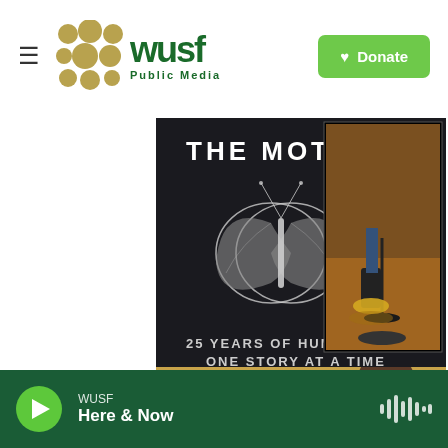WUSF Public Media — navigation bar with hamburger menu, WUSF logo, and Donate button
[Figure (photo): The Moth promotional banner: dark background with moth illustration, text '25 YEARS OF HUMANITY ONE STORY AT A TIME', photo of feet at a microphone stand, and 'On Sale Now' text in gold]
[Figure (photo): WUSF's Listen Up promotional image showing 'WUSF'S LISTEN UP' text in orange/pink with a person's face partially visible]
WUSF — Here & Now (audio player bar with play button and waveform icon)